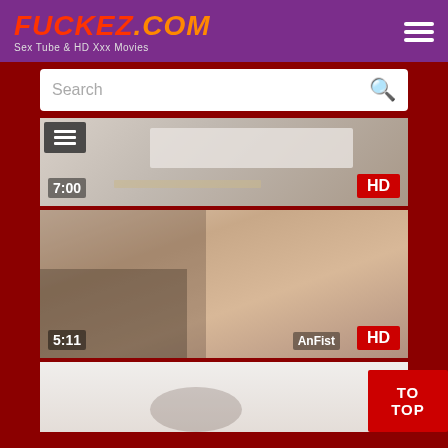FUCKEZ.COM - Sex Tube & HD Xxx Movies
Search
[Figure (screenshot): Video thumbnail 1 showing massage table, duration 7:00, HD badge]
[Figure (screenshot): Video thumbnail 2 showing adult content, duration 5:11, AnFist label, HD badge]
[Figure (screenshot): Video thumbnail 3 partially visible, TO TOP button overlay]